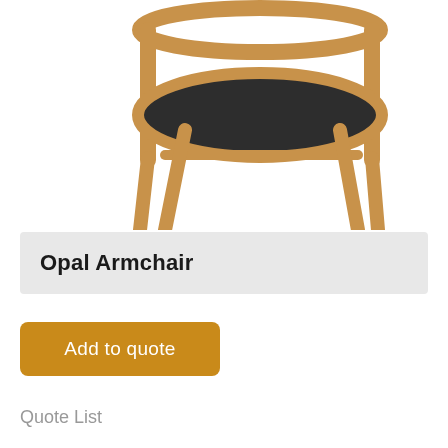[Figure (photo): A wooden armchair with a circular back and black seat cushion, photographed from above/front angle on a white background. The chair has natural oak/wood-tone legs and frame with a dark upholstered seat.]
Opal Armchair
Add to quote
Quote List